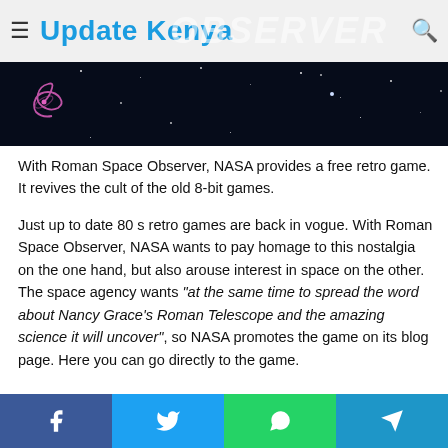Update Kenya
[Figure (photo): Dark space/starfield banner image with a pink spiral galaxy icon on the left]
With Roman Space Observer, NASA provides a free retro game. It revives the cult of the old 8-bit games.
Just up to date 80 s retro games are back in vogue. With Roman Space Observer, NASA wants to pay homage to this nostalgia on the one hand, but also arouse interest in space on the other. The space agency wants “at the same time to spread the word about Nancy Grace’s Roman Telescope and the amazing science it will uncover”, so NASA promotes the game on its blog page. Here you can go directly to the game.
Facebook Twitter WhatsApp Telegram